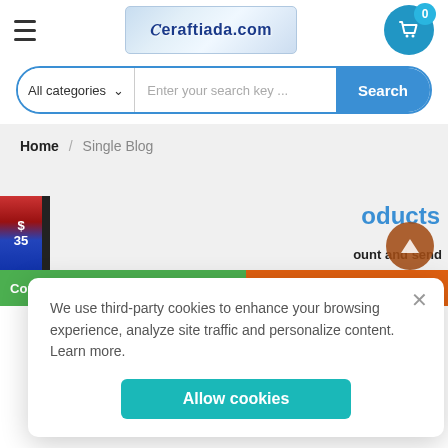[Figure (logo): Ceraftiada.com website logo in blue/silver gradient]
[Figure (screenshot): Search bar with All categories dropdown and Search button]
Home / Single Blog
We use third-party cookies to enhance your browsing experience, analyze site traffic and personalize content. Learn more.
Allow cookies
products
ount and send
Connect with us via WhatsApp
us a RFQ.